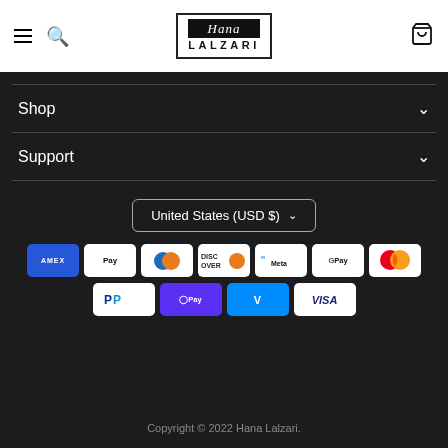Hana Lalzari - navigation header with menu, search, logo, and cart icons
Shop
Support
United States (USD $)
[Figure (logo): Payment method logos: American Express, Apple Pay, Diners Club, Discover, Meta Pay, Google Pay, Mastercard, PayPal, Shop Pay, Venmo, Visa]
Copyright © 2022 Hana Lalzari.